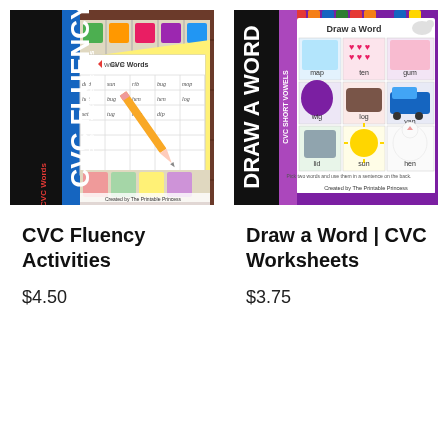[Figure (illustration): CVC Fluency Activities product thumbnail – shows colorful educational cards and a writing worksheet with CVC words, large bold text 'CVC FLUENCY' on left side, subtitle 'CVC Words • 8 Center Activities', red subtitle 'CVC Words', pencil image on worksheet, cartoon character images on cards, wood table background, 'Created by The Printable Princess' credit]
CVC Fluency Activities
$4.50
[Figure (illustration): Draw a Word | CVC Worksheets product thumbnail – shows a worksheet with grid of illustrated CVC words (map, ten, gum, wig, log, van, lid, sun, hen), large vertical text 'DRAW A WORD' on left, purple banner 'CVC SHORT VOWELS', purple background, crayons visible at top, 'Created by The Printable Princess' credit]
Draw a Word | CVC Worksheets
$3.75